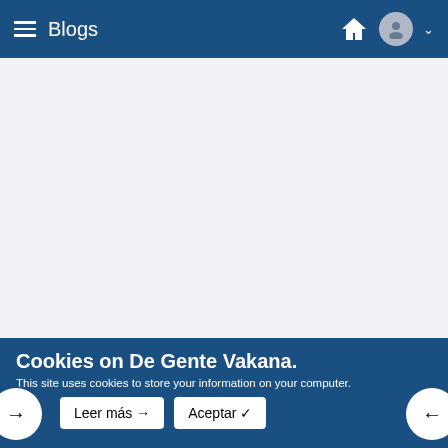Blogs
[Figure (screenshot): White/light grey empty content area below the navigation bar]
Cookies on De Gente Vakana.
This site uses cookies to store your information on your computer.
Leer más → | Aceptar ✓